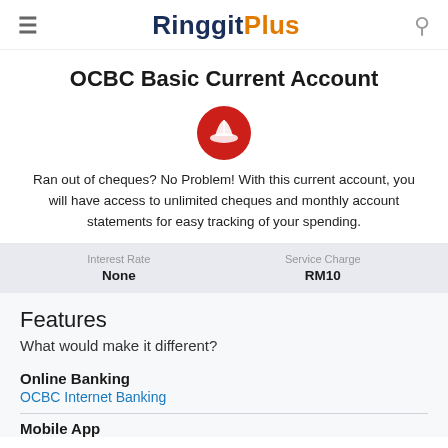RinggitPlus
OCBC Basic Current Account
[Figure (logo): OCBC Bank logo — red circle with white boat/sail icon]
Ran out of cheques? No Problem! With this current account, you will have access to unlimited cheques and monthly account statements for easy tracking of your spending.
| Interest Rate | Service Charge |
| --- | --- |
| None | RM10 |
Features
What would make it different?
Online Banking
OCBC Internet Banking
Mobile App